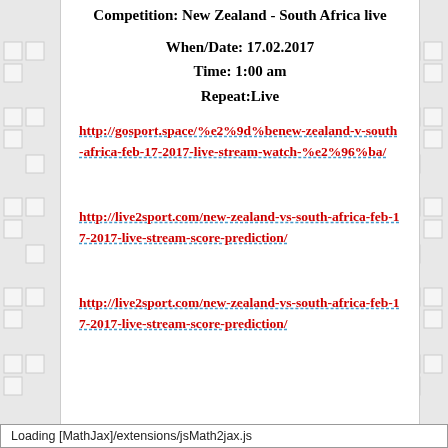Competition: New Zealand - South Africa live
When/Date: 17.02.2017
Time: 1:00 am
Repeat:Live
http://gosport.space/%e2%9d%benew-zealand-v-south-africa-feb-17-2017-live-stream-watch-%e2%96%ba/
http://live2sport.com/new-zealand-vs-south-africa-feb-17-2017-live-stream-score-prediction/
http://live2sport.com/new-zealand-vs-south-africa-feb-17-2017-live-stream-score-prediction/
Loading [MathJax]/extensions/jsMath2jax.js